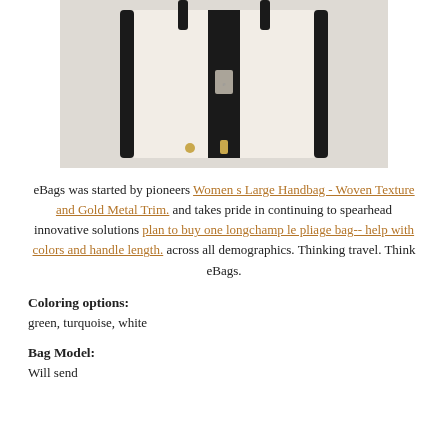[Figure (photo): A white handbag with black leather trim and straps, photographed from the back/front on a light grey background.]
eBags was started by pioneers Women s Large Handbag - Woven Texture and Gold Metal Trim. and takes pride in continuing to spearhead innovative solutions plan to buy one longchamp le pliage bag-- help with colors and handle length. across all demographics. Thinking travel. Think eBags.
Coloring options:
green, turquoise, white
Bag Model:
Will send